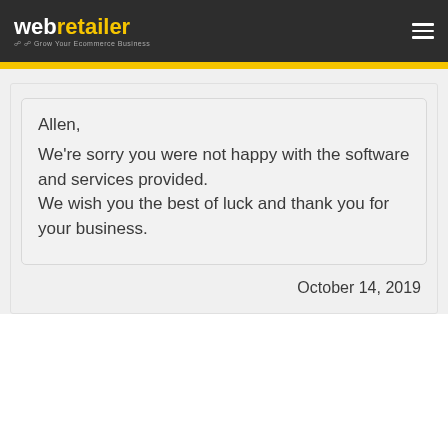webretailer — Grow Your Ecommerce Business
Allen,
We're sorry you were not happy with the software and services provided.
We wish you the best of luck and thank you for your business.
October 14, 2019